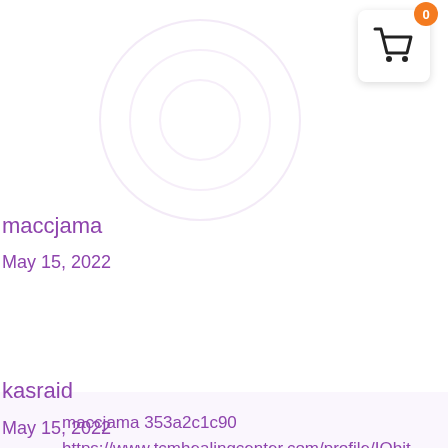[Figure (other): Shopping cart icon with orange badge showing 0, in white rounded box with shadow]
maccjama
May 15, 2022
maccjama 353a2c1c90
https://www.tcmhealingcenter.com/profile/IObit-Advanced-SystemCare-Pro-V1261970-Final-Serials-Serial-Key-Keygenbfdcm/profile
kasraid
May 15, 2022